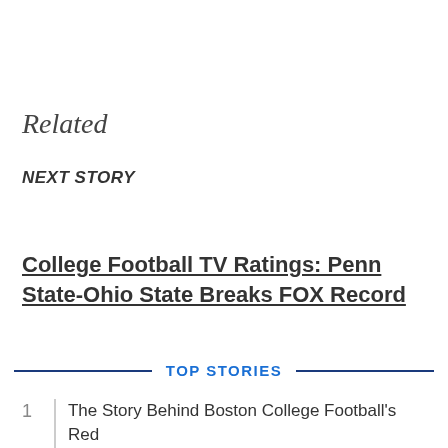Related
NEXT STORY
College Football TV Ratings: Penn State-Ohio State Breaks FOX Record
TOP STORIES
1  The Story Behind Boston College Football's Red...